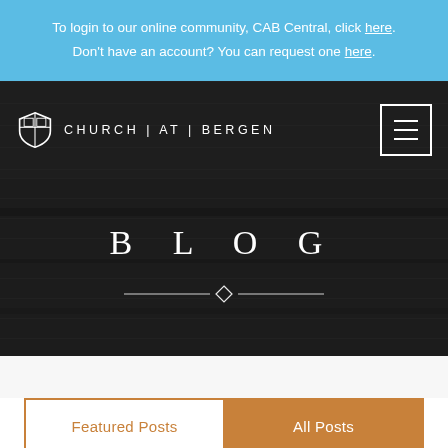To login to our online community, CAB Central, click here. Don't have an account? You can request one here.
[Figure (logo): Church at Bergen logo with shield icon and text 'CHURCH | AT | BERGEN', plus hamburger menu button in top right]
BLOG
[Figure (illustration): Decorative horizontal divider with diamond ornament in center]
Featured Posts
All Posts